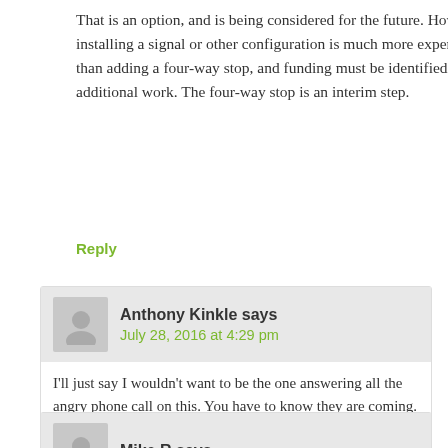That is an option, and is being considered for the future. However, installing a signal or other configuration is much more expensive than adding a four-way stop, and funding must be identified for additional work. The four-way stop is an interim step.
Reply
Anthony Kinkle says
July 28, 2016 at 4:29 pm
I'll just say I wouldn't want to be the one answering all the angry phone call on this. You have to know they are coming. Today is day one and it took my wife 7 min just to go from Kroger to the intersection. You know traffic is much higher on Adams so this plan seems more like a band aid then a true fix. We appreciate the commission trying to keep people safe but sensible fixes would be appreciated.
Reply
Mike R says